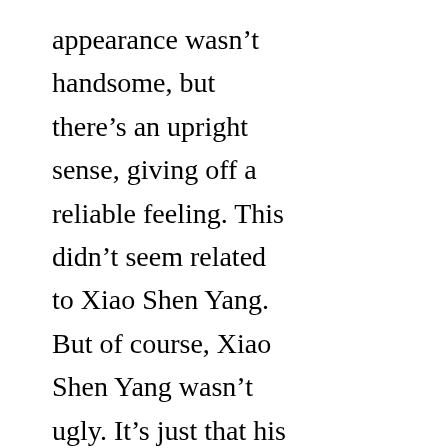appearance wasn't handsome, but there's an upright sense, giving off a reliable feeling. This didn't seem related to Xiao Shen Yang. But of course, Xiao Shen Yang wasn't ugly. It's just that his style was to intentionally make those funny performances, and this caused a big difference in people's perception….perhaps those female students like it that way?

This group of female students could really make people speechless. When others said